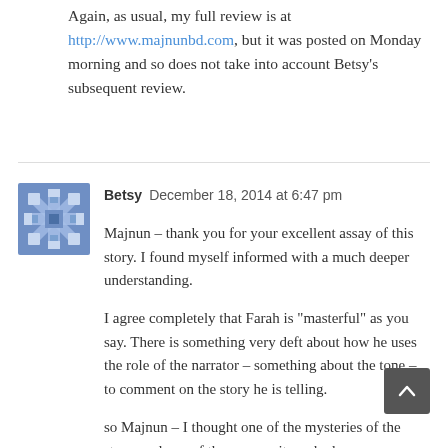Again, as usual, my full review is at http://www.majnunbd.com, but it was posted on Monday morning and so does not take into account Betsy's subsequent review.
[Figure (illustration): Blue decorative avatar icon with snowflake/cross pattern]
Betsy  December 18, 2014 at 6:47 pm
Majnun – thank you for your excellent assay of this story. I found myself informed with a much deeper understanding.
I agree completely that Farah is “masterful” as you say. There is something very deft about how he uses the role of the narrator – something about the tone – to comment on the story he is telling.
so Majnun – I thought one of the mysteries of the story, and one of the reasons it worked so